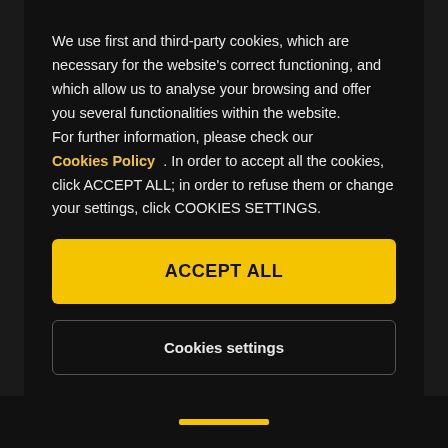We use first and third-party cookies, which are necessary for the website's correct functioning, and which allow us to analyse your browsing and offer you several functionalities within the website.
For further information, please check our
Cookies Policy . In order to accept all the cookies, click ACCEPT ALL; in order to refuse them or change your settings, click COOKIES SETTINGS.
ACCEPT ALL
Cookies settings